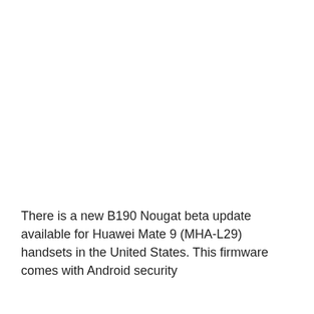There is a new B190 Nougat beta update available for Huawei Mate 9 (MHA-L29) handsets in the United States. This firmware comes with Android security